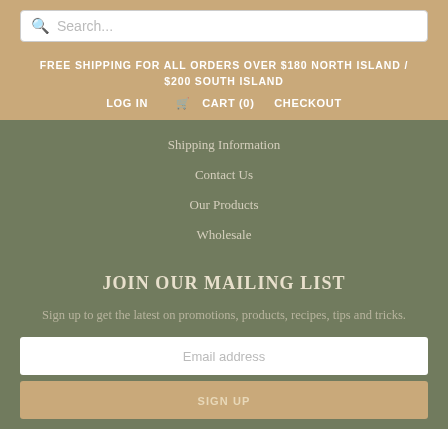Search...
FREE SHIPPING FOR ALL ORDERS OVER $180 NORTH ISLAND / $200 SOUTH ISLAND
LOG IN   CART (0)   CHECKOUT
Shipping Information
Contact Us
Our Products
Wholesale
JOIN OUR MAILING LIST
Sign up to get the latest on promotions, products, recipes, tips and tricks.
Email address
SIGN UP